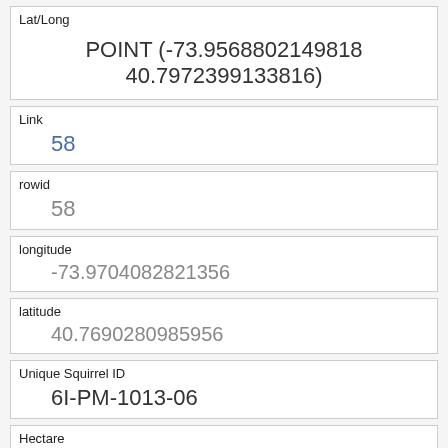| Lat/Long |
| --- |
| POINT (-73.9568802149818 40.7972399133816) |
| Link |
| --- |
| 58 |
| rowid |
| --- |
| 58 |
| longitude |
| --- |
| -73.9704082821356 |
| latitude |
| --- |
| 40.7690280985956 |
| Unique Squirrel ID |
| --- |
| 6I-PM-1013-06 |
| Hectare |
| --- |
| 06I |
| Shift |
| --- |
| PM |
| Date |
| --- |
| 10132018 |
| Hectare Squirrel Number |
| --- |
|  |